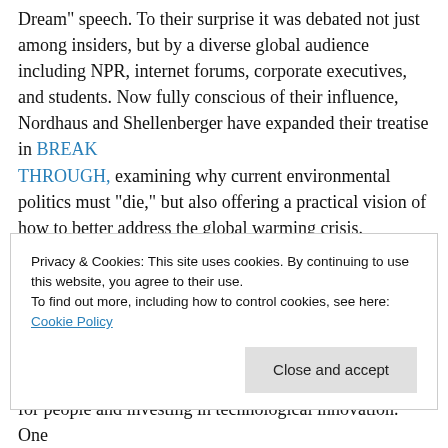Dream" speech. To their surprise it was debated not just among insiders, but by a diverse global audience including NPR, internet forums, corporate executives, and students. Now fully conscious of their influence, Nordhaus and Shellenberger have expanded their treatise in BREAKTHROUGH, examining why current environmental politics must “die,” but also offering a practical vision of how to better address the global warming crisis.
With Austen-ian chapter titles like “Greatness” and “Pragmatism,” this methodically researched book provides
Privacy & Cookies: This site uses cookies. By continuing to use this website, you agree to their use.
To find out more, including how to control cookies, see here: Cookie Policy
for people and investing in technological innovation. One